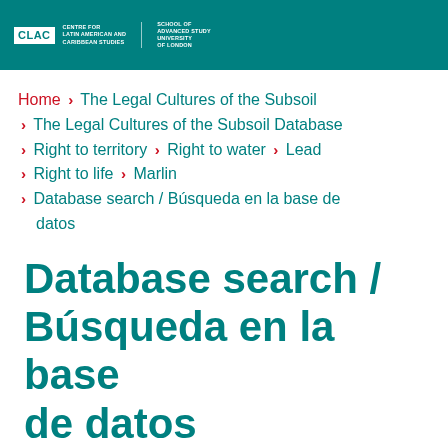[Figure (logo): CLAC Centre for Latin American and Caribbean Studies logo with School of Advanced Study, University of London text on teal background]
Home > The Legal Cultures of the Subsoil > The Legal Cultures of the Subsoil Database > Right to territory > Right to water > Lead > Right to life > Marlin > Database search / Búsqueda en la base de datos
Database search / Búsqueda en la base de datos